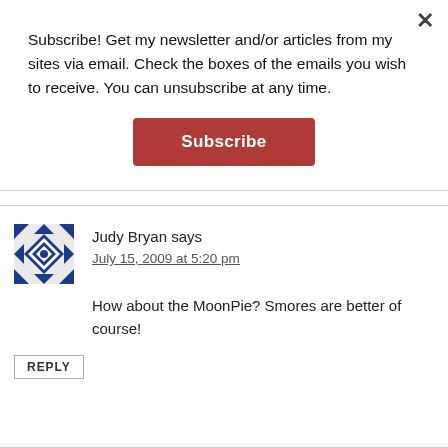Subscribe! Get my newsletter and/or articles from my sites via email. Check the boxes of the emails you wish to receive. You can unsubscribe at any time.
[Figure (other): Subscribe button — a red/dark-red rectangular button with white bold text 'Subscribe']
Judy Bryan says
July 15, 2009 at 5:20 pm
How about the MoonPie? Smores are better of course!
REPLY